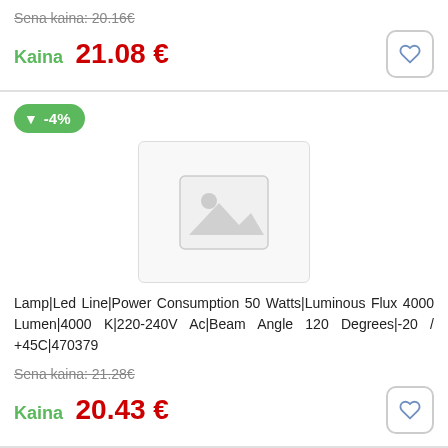Sena kaina: 20.16€
Kaina 21.08 €
[Figure (other): Product listing card with -4% discount badge, placeholder product image]
Lamp|Led Line|Power Consumption 50 Watts|Luminous Flux 4000 Lumen|4000 K|220-240V Ac|Beam Angle 120 Degrees|-20/+45C|470379
Sena kaina: 21.28€
Kaina 20.43 €
[Figure (other): Product listing card with -5% discount badge (partial)]